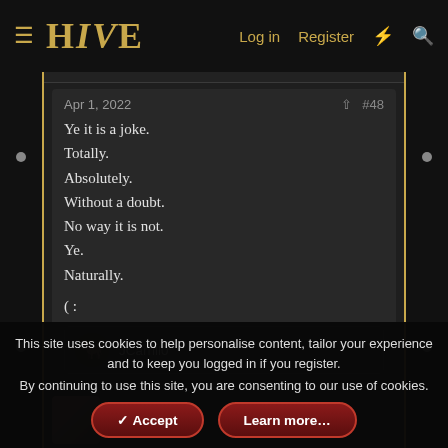HIVE — Log in  Register
Apr 1, 2022  #48
Ye it is a joke.
Totally.
Absolutely.
Without a doubt.
No way it is not.
Ye.
Naturally.

( :
JCarrill0
Resyak
This site uses cookies to help personalise content, tailor your experience and to keep you logged in if you register.
By continuing to use this site, you are consenting to our use of cookies.
Accept  Learn more…